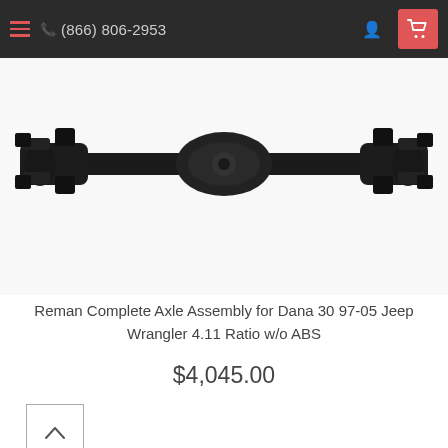(866) 806-2953
[Figure (photo): Underside view of a Reman Complete Axle Assembly for Dana 30, showing black metal axle hardware against a white background]
Reman Complete Axle Assembly for Dana 30 97-05 Jeep Wrangler 4.11 Ratio w/o ABS
$4,045.00